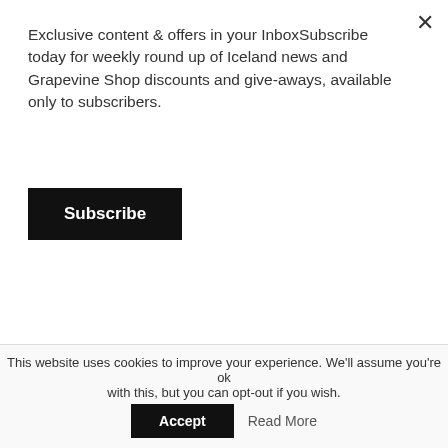Exclusive content & offers in your InboxSubscribe today for weekly round up of Iceland news and Grapevine Shop discounts and give-aways, available only to subscribers.
Subscribe
[Figure (photo): Partial thumbnail of a dark image showing what appears to be tools or machinery]
g y
[Figure (illustration): Orange/yellow thumbnail with text: TEN MUNDANE things / can't really do in Iceland]
ON YOUR OWN
Ten Mundane Things You Can't Really Do In Iceland
[Figure (photo): Blue landscape photo with person in blue jacket, labeled 'Reykjavik Newscast']
NEWS
RVK Newscast 209: The Volcano Is Dead, Long Live The Volcano
This website uses cookies to improve your experience. We'll assume you're ok with this, but you can opt-out if you wish.
Accept
Read More